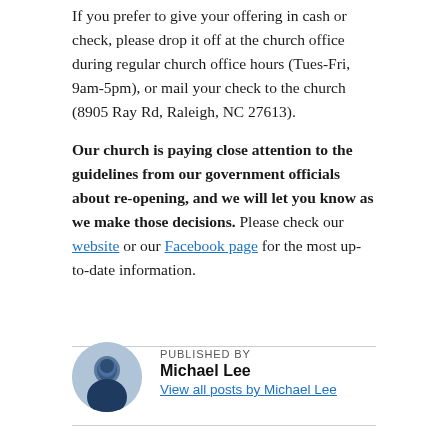If you prefer to give your offering in cash or check, please drop it off at the church office during regular church office hours (Tues-Fri, 9am-5pm), or mail your check to the church (8905 Ray Rd, Raleigh, NC 27613).
Our church is paying close attention to the guidelines from our government officials about re-opening, and we will let you know as we make those decisions. Please check our website or our Facebook page for the most up-to-date information.
PUBLISHED BY
Michael Lee
View all posts by Michael Lee